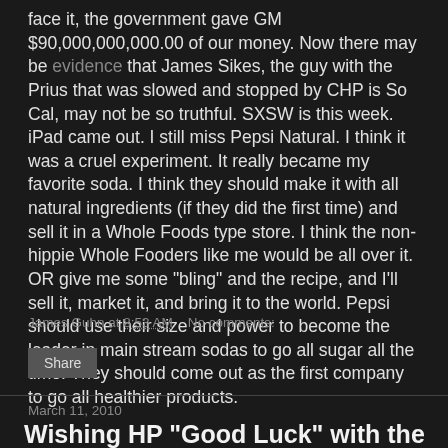face it, the government gave GM $90,000,000,000.00 of our money. Now there may be evidence that James Sikes, the guy with the Prius that was slowed and stopped by CHP is So Cal, may not be so truthful. SXSW is this week. iPad came out. I still miss Pepsi Natural. I think it was a cruel experiment. It really became my favorite soda. I think they should make it with all natural ingredients (if they did the first time) and sell it in a Whole Foods type store. I think the non-hippie Whole Fooders like me would be all over it. OR give me some "bling" and the recipe, and I'll sell it, market it, and bring it to the world. Pepsi should use their size and power to become the leader in main stream sodas to go all sugar all the time. They should come out as the first company to go all healthier products.
James Guhn at 8:53 AM   No comments:
Share
March 11, 2010
Wishing HP "Good Luck" with the New